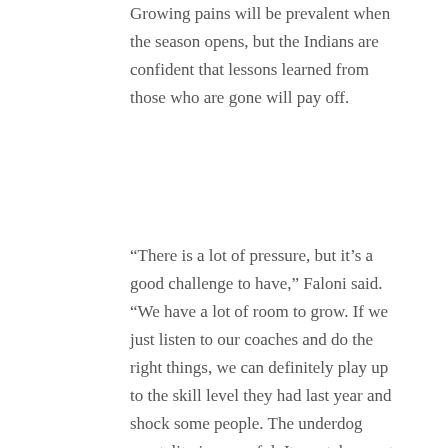Growing pains will be prevalent when the season opens, but the Indians are confident that lessons learned from those who are gone will pay off.
“There is a lot of pressure, but it’s a good challenge to have,” Faloni said. “We have a lot of room to grow. If we just listen to our coaches and do the right things, we can definitely play up to the skill level they had last year and shock some people. The underdog mentality is powerful. It can take you to some pretty cool places.”
Published On: September 1, 2015
Categories: 2015 Season
Tags: Boys